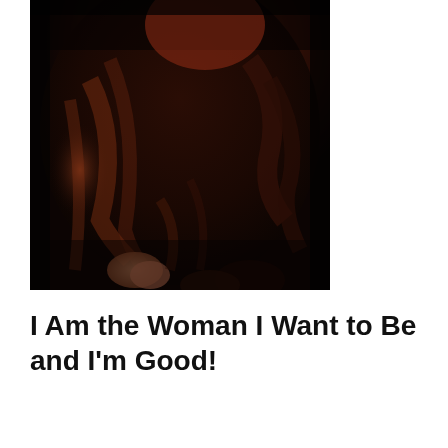[Figure (photo): A close-up photograph of a woman with dark curly hair, wearing a dark outfit. The image is dark and moody, showing her hair and upper body from above.]
I Am the Woman I Want to Be and I'm Good!